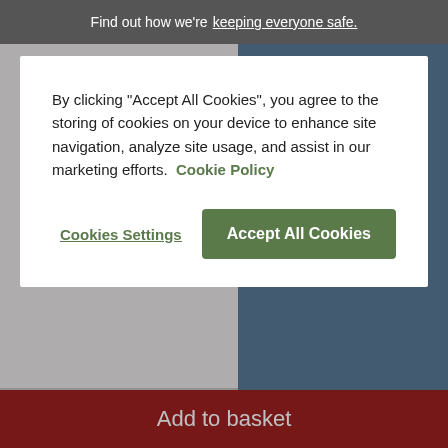Find out how we're keeping everyone safe.
offer:
£1,079.99
Finance from £27 p/m*
More Details
Add to basket
By clicking "Accept All Cookies", you agree to the storing of cookies on your device to enhance site navigation, analyze site usage, and assist in our marketing efforts. Cookie Policy
Cookies Settings
Accept All Cookies